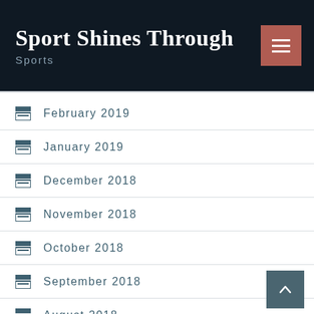Sport Shines Through
Sports
February 2019
January 2019
December 2018
November 2018
October 2018
September 2018
August 2018